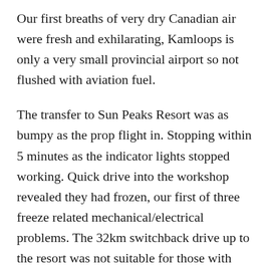Our first breaths of very dry Canadian air were fresh and exhilarating, Kamloops is only a very small provincial airport so not flushed with aviation fuel.
The transfer to Sun Peaks Resort was as bumpy as the prop flight in. Stopping within 5 minutes as the indicator lights stopped working. Quick drive into the workshop revealed they had frozen, our first of three freeze related mechanical/electrical problems. The 32km switchback drive up to the resort was not suitable for those with any kind of back issues